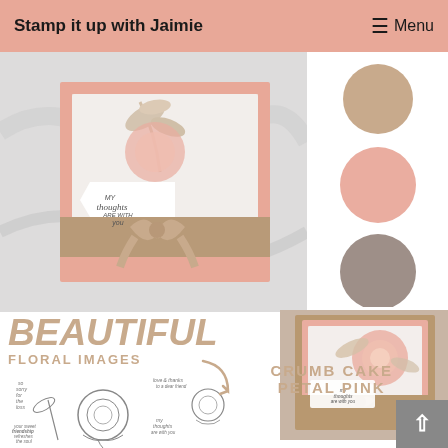Stamp it up with Jaimie  ≡ Menu
[Figure (photo): Handmade greeting card with floral stamp design, 'my thoughts are with you' sentiment, bow ribbon, set on marble background]
[Figure (illustration): Three color swatches: tan/crumb cake circle, petal pink circle, warm gray circle]
BEAUTIFUL
FLORAL IMAGES
[Figure (illustration): Floral stamp images showing peony flowers with sentiments: 'so sorry for your loss', 'love & thanks to a dear friend', 'my thoughts are with you', 'your sweet friendship refreshes the soul']
[Figure (photo): Second handmade greeting card with large pink peony flower stamp, 'my thoughts are with you' sentiment, bow ribbon on kraft paper background]
CRUMB CAKE
PETAL PINK